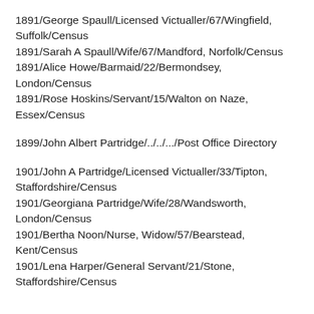1891/George Spaull/Licensed Victualler/67/Wingfield, Suffolk/Census
1891/Sarah A Spaull/Wife/67/Mandford, Norfolk/Census
1891/Alice Howe/Barmaid/22/Bermondsey, London/Census
1891/Rose Hoskins/Servant/15/Walton on Naze, Essex/Census
1899/John Albert Partridge/../../.../Post Office Directory
1901/John A Partridge/Licensed Victualler/33/Tipton, Staffordshire/Census
1901/Georgiana Partridge/Wife/28/Wandsworth, London/Census
1901/Bertha Noon/Nurse, Widow/57/Bearstead, Kent/Census
1901/Lena Harper/General Servant/21/Stone, Staffordshire/Census